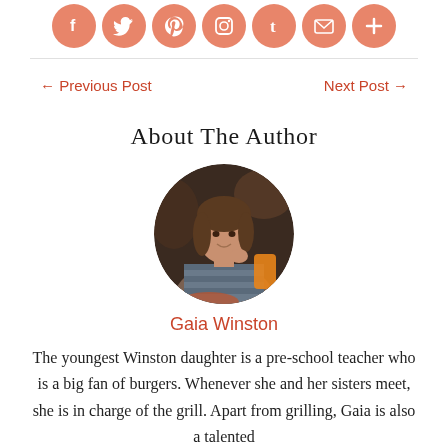[Figure (other): Row of social media icon buttons (Facebook, Twitter, Pinterest, Instagram, Tumblr, Email, More) in salmon/coral circular buttons]
← Previous Post
Next Post →
About The Author
[Figure (photo): Circular profile photo of Gaia Winston, a young woman at a restaurant table with food and drinks]
Gaia Winston
The youngest Winston daughter is a pre-school teacher who is a big fan of burgers. Whenever she and her sisters meet, she is in charge of the grill. Apart from grilling, Gaia is also a talented